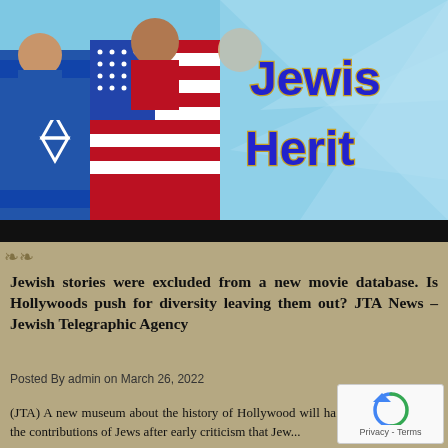[Figure (photo): Banner image showing people draped in Israeli and American flags with the US Capitol building in the background, and text reading 'Jewish Heritage' on the right side on a light blue ray background]
Jewish stories were excluded from a new movie database. Is Hollywoods push for diversity leaving them out? JTA News – Jewish Telegraphic Agency
Posted By admin on March 26, 2022
(JTA) A new museum about the history of Hollywood will ha... devoted to the contributions of Jews after early criticism that Jew...